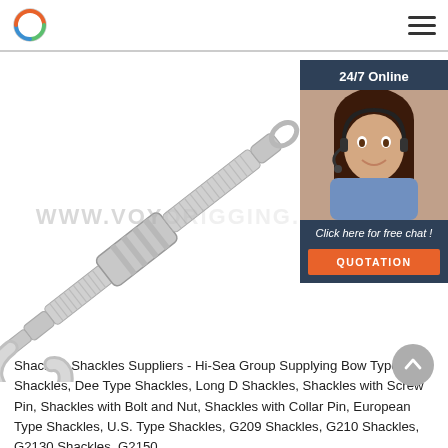www.voyorigging.com — logo and navigation
[Figure (photo): A galvanized steel turnbuckle with hook and eye ends, white background. Watermark text reads WWW.VOYORIGGING. overlaid on the product image. A customer service chat widget is shown on the right with '24/7 Online', a photo of a woman with a headset, 'Click here for free chat!', and a 'QUOTATION' button.]
Shackles,Shackles Suppliers - Hi-Sea Group Supplying Bow Type Shackles, Dee Type Shackles, Long D Shackles, Shackles with Screw Pin, Shackles with Bolt and Nut, Shackles with Collar Pin, European Type Shackles, U.S. Type Shackles, G209 Shackles, G210 Shackles, G2130 Shackles, G2150